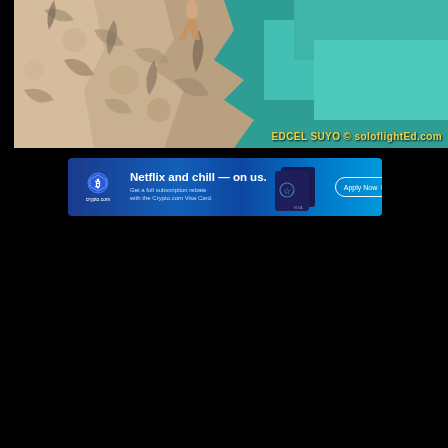[Figure (photo): Aerial view of rocky limestone cliff with teal/turquoise water below, a person visible at the edge of the cliff. Watermark reads: EDCEL SUYO © soloflightEd.com]
[Figure (infographic): Crypto.com banner advertisement: Netflix and chill — on us. Get a full subscription rebate with the Crypto.com Visa Card. Apply Now button. Shows Crypto.com Visa cards.]